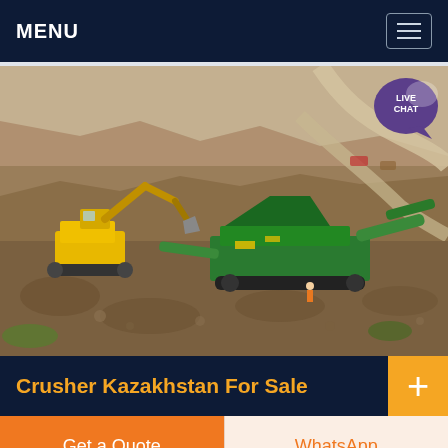MENU
[Figure (photo): Aerial view of an open-pit quarry or mining site with rocky terrain, a yellow excavator on the left, and a green mobile crusher/screening machine in the center. Winding dirt roads visible in the background. Live Chat bubble overlay in top-right corner.]
Crusher Kazakhstan For Sale
Get a Quote
WhatsApp